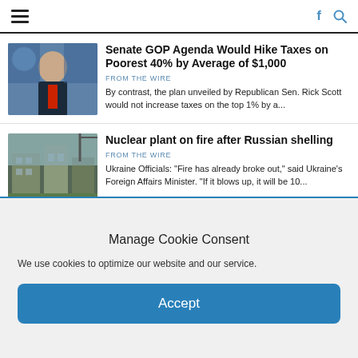Navigation bar with hamburger menu, Facebook icon, and search icon
Senate GOP Agenda Would Hike Taxes on Poorest 40% by Average of $1,000
FROM THE WIRE
By contrast, the plan unveiled by Republican Sen. Rick Scott would not increase taxes on the top 1% by a...
Nuclear plant on fire after Russian shelling
FROM THE WIRE
Ukraine Officials: "Fire has already broke out," said Ukraine's Foreign Affairs Minister. "If it blows up, it will be 10..."
Manage Cookie Consent
We use cookies to optimize our website and our service.
Accept